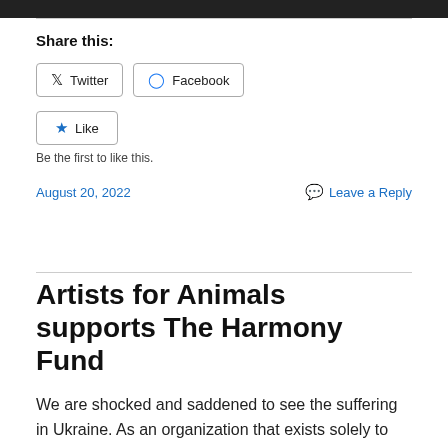[Figure (photo): Partial photo strip at top of page, showing a dark/blurred image.]
Share this:
Twitter  Facebook
Like
Be the first to like this.
August 20, 2022    Leave a Reply
Artists for Animals supports The Harmony Fund
We are shocked and saddened to see the suffering in Ukraine. As an organization that exists solely to relieve the suffering of animals, we could not sit by and do nothing.